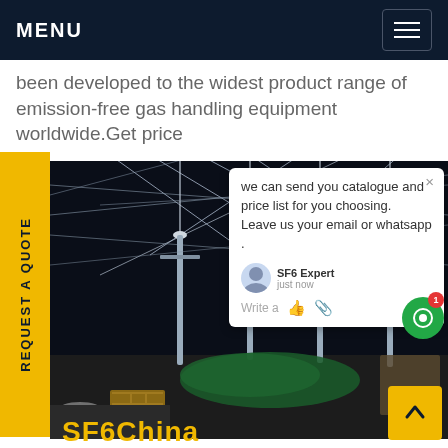MENU
been developed to the widest product range of emission-free gas handling equipment worldwide.Get price
REQUEST A QUOTE
[Figure (photo): Electrical substation at night showing high-voltage transmission equipment, insulators, wires, and industrial infrastructure. Green tarp visible covering equipment on ground. Wooden crates and cylindrical containers in foreground.]
we can send you catalogue and price list for you choosing. Leave us your email or whatsapp .
SF6 Expert   just now
Write a
SF6China